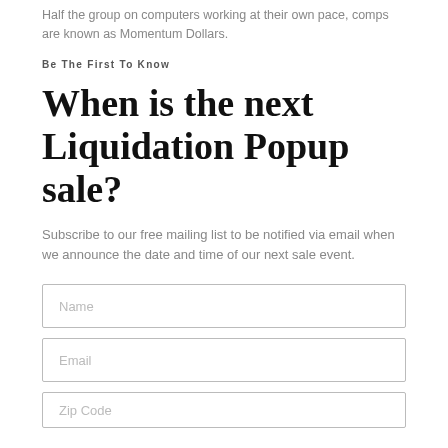Half the group on computers working at their own pace, comps are known as Momentum Dollars.
Be The First To Know
When is the next Liquidation Popup sale?
Subscribe to our free mailing list to be notified via email when we announce the date and time of our next sale event.
Name
Email
Zip Code